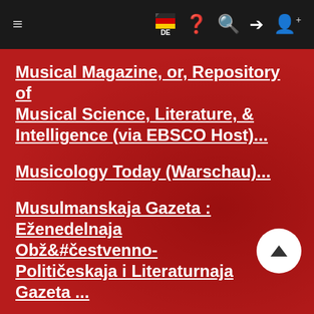Navigation bar with hamburger menu, flag/DE, help, search, login, register icons
Musical Magazine, or, Repository of Musical Science, Literature, & Intelligence (via EBSCO Host)...
Musicology Today (Warschau)...
Musulmanskaja Gazeta : E&#382;enedelnaja Ob&#382;&#269;estvenno-Politi&#269;eskaja i Literaturnaja Gazeta ...
Muzeologija = Museology...
(partial, cut off at bottom)